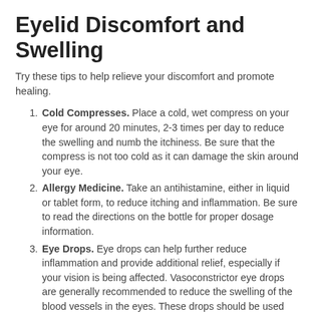Eyelid Discomfort and Swelling
Try these tips to help relieve your discomfort and promote healing.
Cold Compresses. Place a cold, wet compress on your eye for around 20 minutes, 2-3 times per day to reduce the swelling and numb the itchiness. Be sure that the compress is not too cold as it can damage the skin around your eye.
Allergy Medicine. Take an antihistamine, either in liquid or tablet form, to reduce itching and inflammation. Be sure to read the directions on the bottle for proper dosage information.
Eye Drops. Eye drops can help further reduce inflammation and provide additional relief, especially if your vision is being affected. Vasoconstrictor eye drops are generally recommended to reduce the swelling of the blood vessels in the eyes. These drops should be used sparingly as they can cause a rebound effect - making the eyes red once they heal. It's best to consult with your eye doctor before using any eye drops.